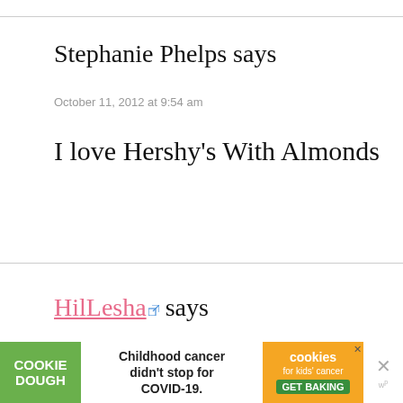Stephanie Phelps says
October 11, 2012 at 9:54 am
I love Hershy's With Almonds
HilLesha says
October 11, 2012 at 9:54 am
[Figure (other): Cookie Dough advertisement banner: 'Childhood cancer didn't stop for COVID-19. GET BAKING' with cookies for kids cancer logo]